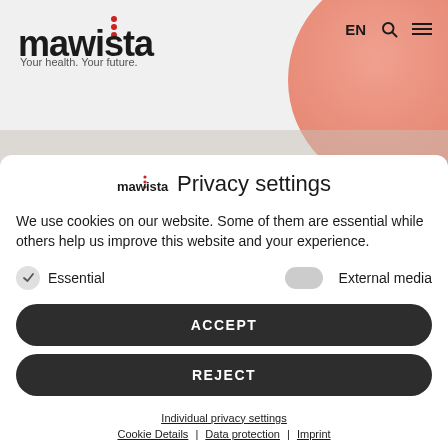[Figure (logo): Mawista logo with red dots above the 'i', tagline 'Your health. Your future.']
EN
Privacy settings
We use cookies on our website. Some of them are essential while others help us improve this website and your experience.
Essential
External media
ACCEPT
REJECT
Individual privacy settings
Cookie Details | Data protection | Imprint